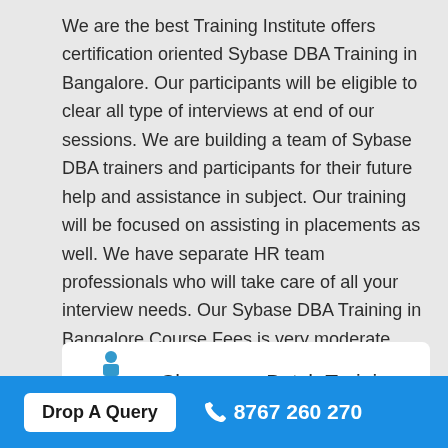We are the best Training Institute offers certification oriented Sybase DBA Training in Bangalore. Our participants will be eligible to clear all type of interviews at end of our sessions. We are building a team of Sybase DBA trainers and participants for their future help and assistance in subject. Our training will be focused on assisting in placements as well. We have separate HR team professionals who will take care of all your interview needs. Our Sybase DBA Training in Bangalore Course Fees is very moderate compared to others. We are the only Sybase DBA training institute who can share video reviews of all our students. We mentioned the course timings and start date as well in below.
[Figure (illustration): Icon showing a trainer with students - classroom group icon in blue]
Classroom Batch Training
Drop A Query
8767 260 270